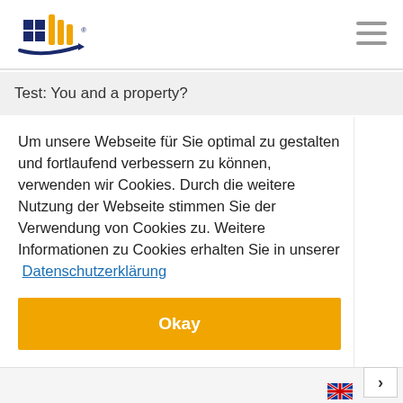[Figure (logo): Real estate company logo with house icon and swoosh, blue and orange colors]
Test: You and a property?
Um unsere Webseite für Sie optimal zu gestalten und fortlaufend verbessern zu können, verwenden wir Cookies. Durch die weitere Nutzung der Webseite stimmen Sie der Verwendung von Cookies zu. Weitere Informationen zu Cookies erhalten Sie in unserer Datenschutzerklärung
Okay